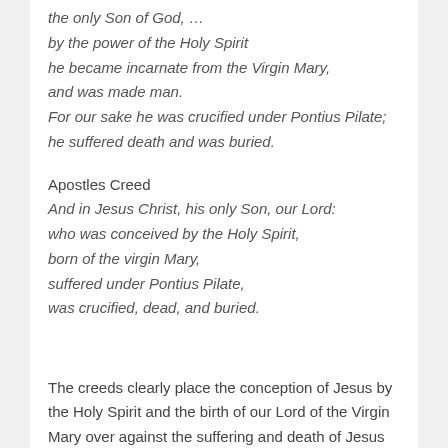the only Son of God, …
by the power of the Holy Spirit
he became incarnate from the Virgin Mary,
and was made man.
For our sake he was crucified under Pontius Pilate;
he suffered death and was buried.
Apostles Creed
And in Jesus Christ, his only Son, our Lord:
who was conceived by the Holy Spirit,
born of the virgin Mary,
suffered under Pontius Pilate,
was crucified, dead, and buried.
The creeds clearly place the conception of Jesus by the Holy Spirit and the birth of our Lord of the Virgin Mary over against the suffering and death of Jesus Christ, God's only Son, our Lord, at the hands of the fifth Roman procurator, Pontius Pilate. The only woman mentioned is honored in her obedience; the only man mentioned in…